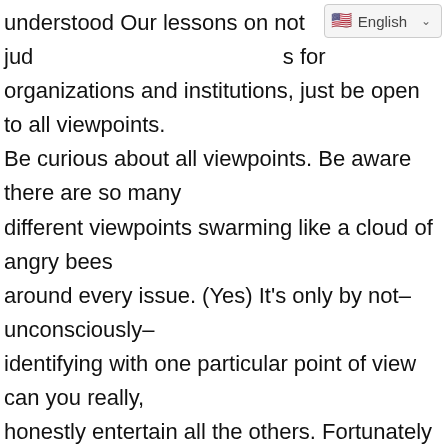understood Our lessons on not jud s for organizations and institutions, just be open to all viewpoints. Be curious about all viewpoints. Be aware there are so many different viewpoints swarming like a cloud of angry bees around every issue. (Yes) It's only by not–unconsciously–identifying with one particular point of view can you really, honestly entertain all the others. Fortunately it works both ways. By trying sincerely to understand all viewpoints, you become aware of your own, and its origin. And so you make your decision to, shall we say, back a particular candidate in a political race. At the same time try to give him and his party as much feedback–constructive critique as you can. Seek to make your leaders responsible to you.